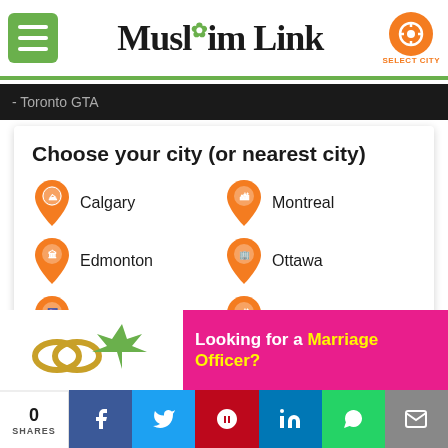Muslim Link
- Toronto GTA
Choose your city (or nearest city)
Calgary
Montreal
Edmonton
Ottawa
Regina
Saskatoon
Halifax
Toronto GTA
[Figure (infographic): Advertisement banner: Looking for a Marriage Officer?]
0 SHARES | Facebook | Twitter | Pinterest | LinkedIn | WhatsApp | Email